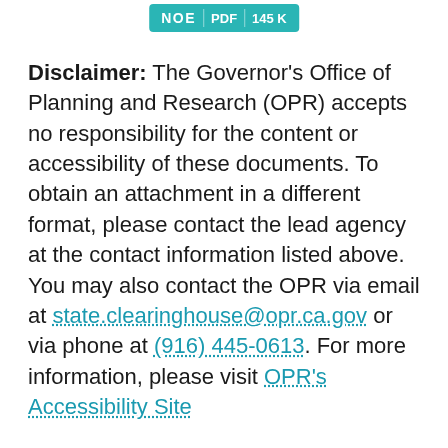[Figure (other): NOE PDF 145K badge button in teal/cyan color]
Disclaimer: The Governor's Office of Planning and Research (OPR) accepts no responsibility for the content or accessibility of these documents. To obtain an attachment in a different format, please contact the lead agency at the contact information listed above. You may also contact the OPR via email at state.clearinghouse@opr.ca.gov or via phone at (916) 445-0613. For more information, please visit OPR's Accessibility Site